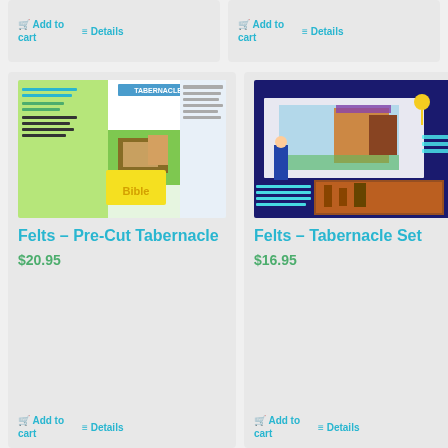Add to cart
Details
Add to cart
Details
[Figure (photo): Felts Pre-Cut Tabernacle product packaging showing colorful felt pieces and instructions]
Felts – Pre-Cut Tabernacle
$20.95
Add to cart
Details
[Figure (photo): Felts Tabernacle Set product image showing 3D illustration of the biblical tabernacle with figures]
Felts – Tabernacle Set
$16.95
Add to cart
Details